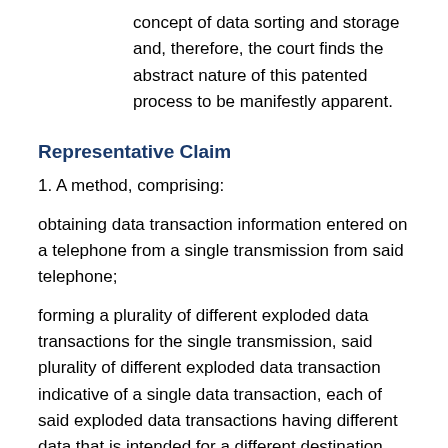concept of data sorting and storage and, therefore, the court finds the abstract nature of this patented process to be manifestly apparent.
Representative Claim
1. A method, comprising:
obtaining data transaction information entered on a telephone from a single transmission from said telephone;
forming a plurality of different exploded data transactions for the single transmission, said plurality of different exploded data transaction indicative of a single data transaction, each of said exploded data transactions having different data that is intended for a different destination that is included as part of the